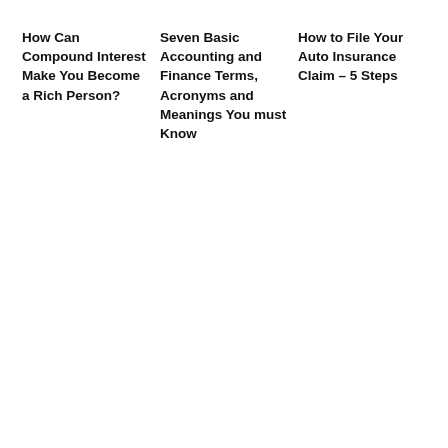How Can Compound Interest Make You Become a Rich Person?
Seven Basic Accounting and Finance Terms, Acronyms and Meanings You must Know
How to File Your Auto Insurance Claim – 5 Steps